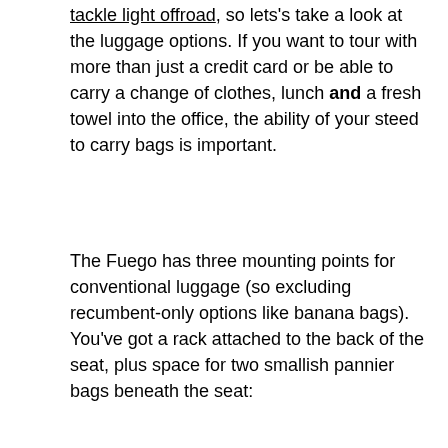tackle light offroad, so lets's take a look at the luggage options. If you want to tour with more than just a credit card or be able to carry a change of clothes, lunch and a fresh towel into the office, the ability of your steed to carry bags is important.
The Fuego has three mounting points for conventional luggage (so excluding recumbent-only options like banana bags). You've got a rack attached to the back of the seat, plus space for two smallish pannier bags beneath the seat:
[Figure (photo): A recumbent bicycle parked in an open field with mountains and cloudy sky in the background. The bike has a black bag mounted on a rack behind the seat and appears to be orange/dark colored. Green grass and farmland visible in the background.]